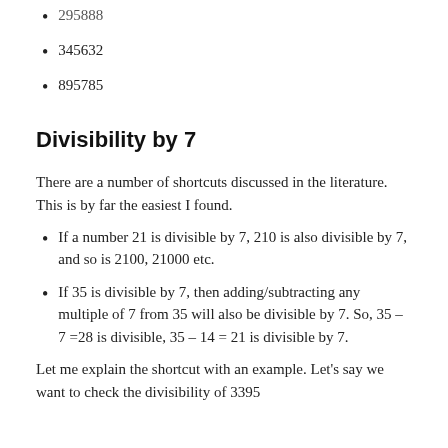295888
345632
895785
Divisibility by 7
There are a number of shortcuts discussed in the literature. This is by far the easiest I found.
If a number 21 is divisible by 7, 210 is also divisible by 7, and so is 2100, 21000 etc.
If 35 is divisible by 7, then adding/subtracting any multiple of 7 from 35 will also be divisible by 7. So, 35 – 7 =28 is divisible, 35 – 14 = 21 is divisible by 7.
Let me explain the shortcut with an example. Let's say we want to check the divisibility of 3395